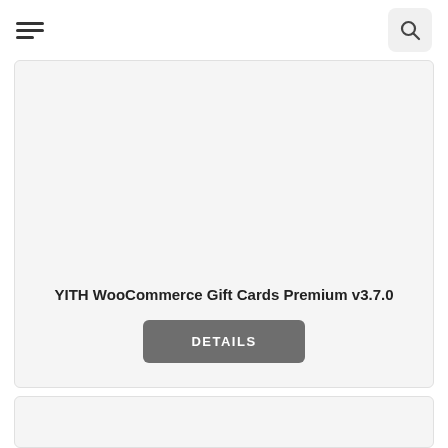Navigation header with hamburger menu and search button
YITH WooCommerce Gift Cards Premium v3.7.0
DETAILS